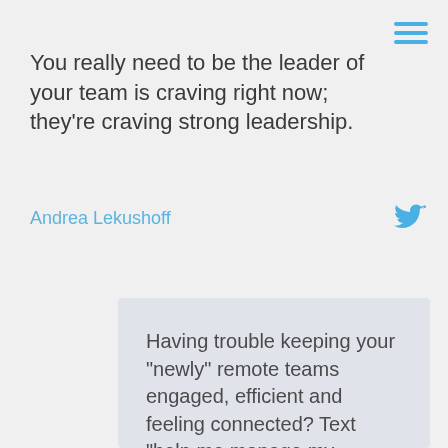You really need to be the leader of your team is craving right now; they're craving strong leadership.
Andrea Lekushoff
[Figure (illustration): Twitter bird logo icon in blue]
[Figure (illustration): Hamburger menu icon with three blue horizontal lines]
Having trouble keeping your "newly" remote teams engaged, efficient and feeling connected? Text "help me manage my remote team" at